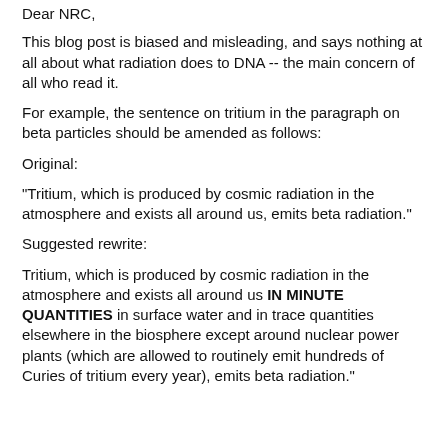Dear NRC,
This blog post is biased and misleading, and says nothing at all about what radiation does to DNA -- the main concern of all who read it.
For example, the sentence on tritium in the paragraph on beta particles should be amended as follows:
Original:
"Tritium, which is produced by cosmic radiation in the atmosphere and exists all around us, emits beta radiation."
Suggested rewrite:
Tritium, which is produced by cosmic radiation in the atmosphere and exists all around us IN MINUTE QUANTITIES in surface water and in trace quantities elsewhere in the biosphere except around nuclear power plants (which are allowed to routinely emit hundreds of Curies of tritium every year), emits beta radiation."